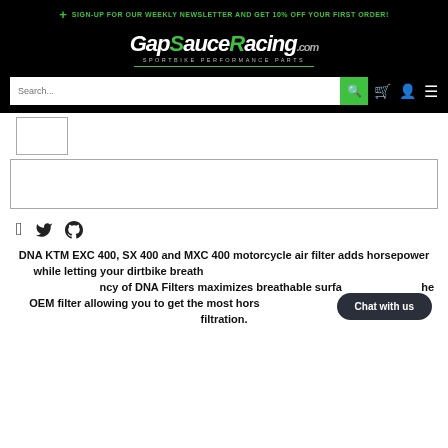+ SIGN-UP FOR OUR WEEKLY NEWSLETTER AND GET 10% OFF YOUR FIRST ORDER!
[Figure (logo): GapSauceRacing.com logo with green accent letters and 'SPORTBIKE PERFORMANCE PARTS' tagline]
[Figure (screenshot): Search bar with green search button, cart icon, user icon, and menu icon]
[Figure (photo): Thumbnail image placeholder box]
[Figure (photo): Main product image placeholder box]
[Figure (other): Social share icons: Facebook, Twitter, Pinterest]
DNA KTM EXC 400, SX 400 and MXC 400 motorcycle air filter adds horsepower while letting your dirtbike breathe. The patency of DNA Filters maximizes breathable surface area above the OEM filter allowing you to get the most horsepower possible with clean air filtration.